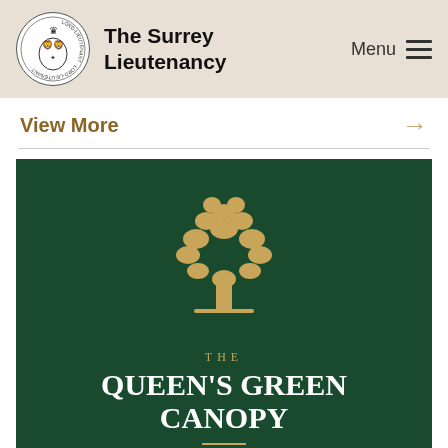[Figure (logo): The Surrey Lieutenancy circular heraldic crest logo with lions and crown]
The Surrey Lieutenancy
Menu
View More →
[Figure (illustration): The Queen's Green Canopy promotional image on dark green background featuring a golden oak tree logo, text THE QUEEN'S GREEN CANOPY, and THE PLATINUM JUBILEE 2022 at the bottom]